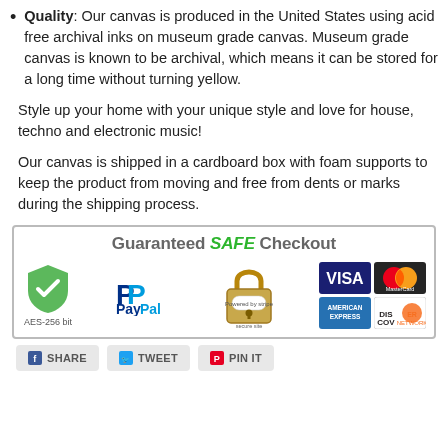Quality: Our canvas is produced in the United States using acid free archival inks on museum grade canvas. Museum grade canvas is known to be archival, which means it can be stored for a long time without turning yellow.
Style up your home with your unique style and love for house, techno and electronic music!
Our canvas is shipped in a cardboard box with foam supports to keep the product from moving and free from dents or marks during the shipping process.
[Figure (infographic): Guaranteed SAFE Checkout banner with AES-256 bit shield, PayPal logo, Stripe-powered padlock, Visa, MasterCard, American Express, Discover payment icons]
[Figure (infographic): Social share buttons: SHARE (Facebook), TWEET (Twitter), PIN IT (Pinterest)]